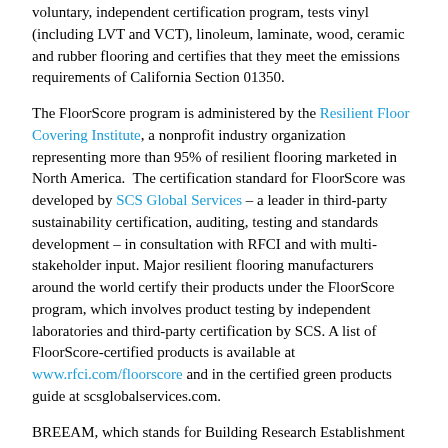voluntary, independent certification program, tests vinyl (including LVT and VCT), linoleum, laminate, wood, ceramic and rubber flooring and certifies that they meet the emissions requirements of California Section 01350.
The FloorScore program is administered by the Resilient Floor Covering Institute, a nonprofit industry organization representing more than 95% of resilient flooring marketed in North America. The certification standard for FloorScore was developed by SCS Global Services – a leader in third-party sustainability certification, auditing, testing and standards development – in consultation with RFCI and with multi-stakeholder input. Major resilient flooring manufacturers around the world certify their products under the FloorScore program, which involves product testing by independent laboratories and third-party certification by SCS. A list of FloorScore-certified products is available at www.rfci.com/floorscore and in the certified green products guide at scsglobalservices.com.
BREEAM, which stands for Building Research Establishment